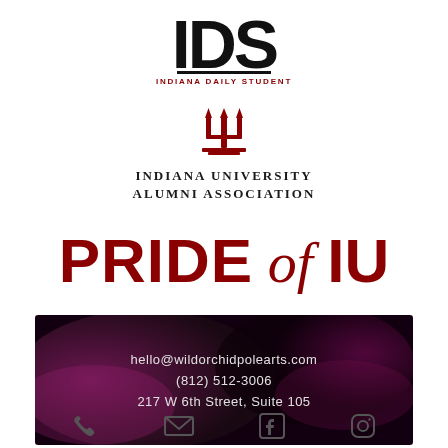[Figure (logo): IDS - Indiana Daily Student logo with large black IDS letters and red subtitle]
[Figure (logo): Indiana University trident logo in crimson above Indiana University Alumni Association text]
PRIDE of IU
[Figure (infographic): Dark purple/magenta background banner with contact information: hello@wildorchidpolearts.com, (812) 512-3006, 217 W 6th Street, Suite 105]
[Figure (infographic): Social media icons row: phone, email, Facebook, Instagram]